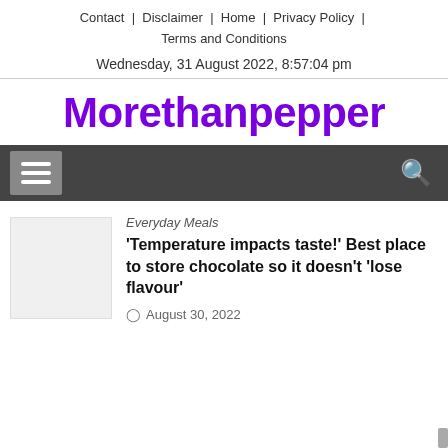Contact | Disclaimer | Home | Privacy Policy | Terms and Conditions
Wednesday, 31 August 2022, 8:57:04 pm
Morethanpepper
[Figure (other): Navigation menu bar with hamburger icon on left and search icon on right, dark gray background]
[Figure (photo): Thumbnail image placeholder, light gray box]
Everyday Meals
'Temperature impacts taste!' Best place to store chocolate so it doesn't 'lose flavour'
August 30, 2022